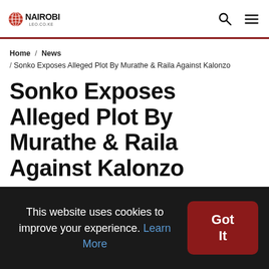NAIROBI LEO.CO.KE
Home / News / Sonko Exposes Alleged Plot By Murathe & Raila Against Kalonzo
Sonko Exposes Alleged Plot By Murathe & Raila Against Kalonzo
Dec 22, 2020 at 04:15 PM • By Mumbi Mutuko
This website uses cookies to improve your experience. Learn More